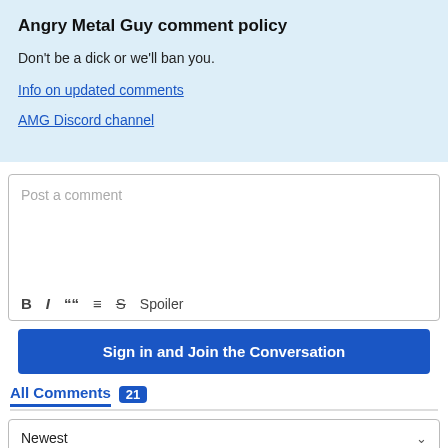Angry Metal Guy comment policy
Don't be a dick or we'll ban you.
Info on updated comments
AMG Discord channel
Post a comment
B  I  ""  ≡  S  Spoiler
Sign in and Join the Conversation
All Comments  21
Newest